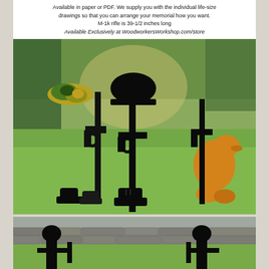Available in paper or PDF. We supply you with the individual life-size drawings so that you can arrange your memorial how you want. M-1k rifle is 39-1/2 inches long
Available Exclusively at WoodworkersWorkshop.com/store
[Figure (photo): Outdoor lawn display showing three soldier memorial silhouettes (black) on green grass with trees in background. Left silhouette has camouflage hat (green/yellow). Center silhouette has combat helmet and boots. Right area shows an orange/tan duck or animal figure near rifle silhouette.]
[Figure (photo): Outdoor lawn display showing two soldier silhouettes (black) on green grass with stone wall in background, cropped at bottom of page.]